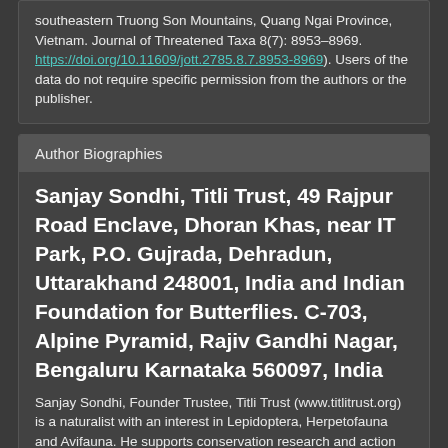southeastern Truong Son Mountains, Quang Ngai Province, Vietnam. Journal of Threatened Taxa 8(7): 8953–8969. https://doi.org/10.11609/jott.2785.8.7.8953-8969). Users of the data do not require specific permission from the authors or the publisher.
Author Biographies
Sanjay Sondhi, Titli Trust, 49 Rajpur Road Enclave, Dhoran Khas, near IT Park, P.O. Gujrada, Dehradun, Uttarakhand 248001, India and Indian Foundation for Butterflies. C-703, Alpine Pyramid, Rajiv Gandhi Nagar, Bengaluru Karnataka 560097, India
Sanjay Sondhi, Founder Trustee, Titli Trust (www.titlitrust.org) is a naturalist with an interest in Lepidoptera, Herpetofauna and Avifauna. He supports conservation research and action and conservation